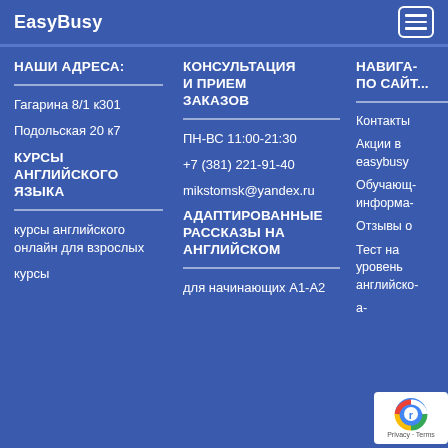EasyBusy
НАШИ АДРЕСА:
Гагарина 8/1 к301
Подольская 20 к7
КУРСЫ АНГЛИЙСКОГО ЯЗЫКА
курсы английского онлайн для взрослых
курсы
КОНСУЛЬТАЦИЯ И ПРИЕМ ЗАКАЗОВ
ПН-ВС 11:00-21:30
+7 (381) 221-91-40
mikstomsk@yandex.ru
АДАПТИРОВАННЫЕ РАССКАЗЫ НА АНГЛИЙСКОМ
для начинающих А1-А2
НАВИГА... ПО САЙТ...
Контакты
Акции в easybusy
Обучающ... информа...
Отзывы о
Тест на уровень английско...
а...